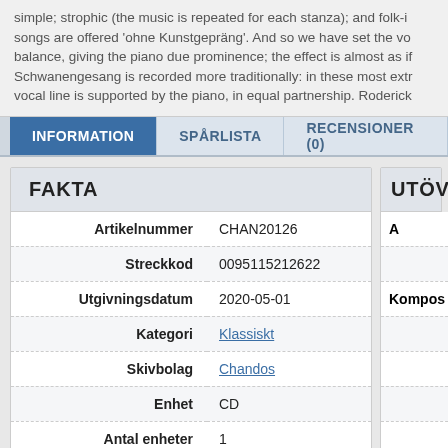simple; strophic (the music is repeated for each stanza); and folk-i songs are offered 'ohne Kunstgepräng'. And so we have set the vo balance, giving the piano due prominence; the effect is almost as if Schwanengesang is recorded more traditionally: in these most extr vocal line is supported by the piano, in equal partnership. Roderick
INFORMATION | SPÅRLISTA | RECENSIONER (0)
| Label | Value |
| --- | --- |
| Artikelnummer | CHAN20126 |
| Streckkod | 0095115212622 |
| Utgivningsdatum | 2020-05-01 |
| Kategori | Klassiskt |
| Skivbolag | Chandos |
| Enhet | CD |
| Antal enheter | 1 |